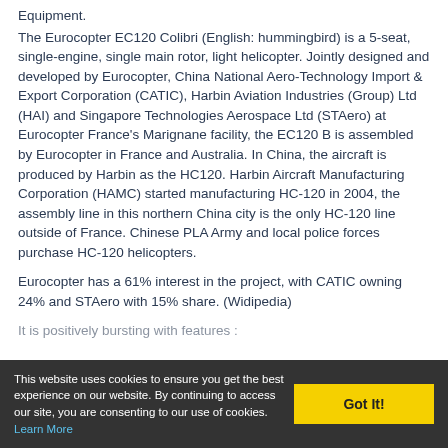Equipment.
The Eurocopter EC120 Colibri (English: hummingbird) is a 5-seat, single-engine, single main rotor, light helicopter. Jointly designed and developed by Eurocopter, China National Aero-Technology Import & Export Corporation (CATIC), Harbin Aviation Industries (Group) Ltd (HAI) and Singapore Technologies Aerospace Ltd (STAero) at Eurocopter France's Marignane facility, the EC120 B is assembled by Eurocopter in France and Australia. In China, the aircraft is produced by Harbin as the HC120. Harbin Aircraft Manufacturing Corporation (HAMC) started manufacturing HC-120 in 2004, the assembly line in this northern China city is the only HC-120 line outside of France. Chinese PLA Army and local police forces purchase HC-120 helicopters.
Eurocopter has a 61% interest in the project, with CATIC owning 24% and STAero with 15% share. (Widipedia)
It is positively bursting with features :
This website uses cookies to ensure you get the best experience on our website. By continuing to access our site, you are consenting to our use of cookies. Learn More  Got It!